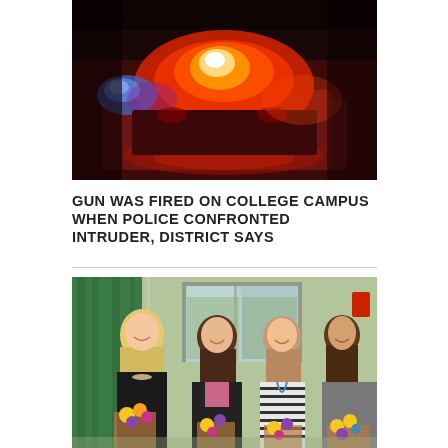[Figure (photo): Close-up photo of a red and blue emergency police light on top of a vehicle, glowing brightly against a blurred background]
GUN WAS FIRED ON COLLEGE CAMPUS WHEN POLICE CONFRONTED INTRUDER, DISTRICT SAYS
[Figure (photo): Four people standing together in a room smiling, holding bouquets of flowers with sunflowers and purple flowers. Three women and one man. Green curtain and window visible in background.]